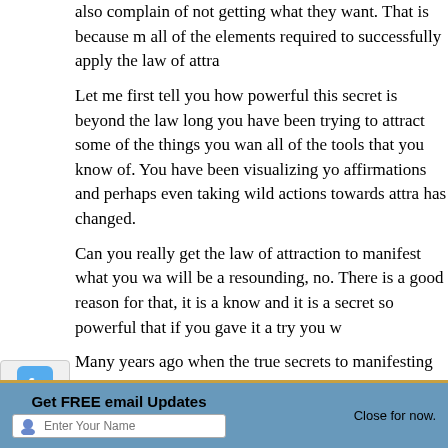also complain of not getting what they want. That is because m all of the elements required to successfully apply the law of attra
Let me first tell you how powerful this secret is beyond the law long you have been trying to attract some of the things you wan all of the tools that you know of. You have been visualizing yo affirmations and perhaps even taking wild actions towards attra has changed.
Can you really get the law of attraction to manifest what you wa will be a resounding, no. There is a good reason for that, it is a know and it is a secret so powerful that if you gave it a try you w
Many years ago when the true secrets to manifesting were not q aware of powerful forces in the universe. These forces were im those who called on those forces to create incredible results aga
[Figure (infographic): Social media sidebar icons: Twitter (blue bird), Facebook (fb), LinkedIn (in), share icon, FriendFeed (ff), YouTube, Vimeo]
Get FREE email Updates   Close for now.   Enter Your Name